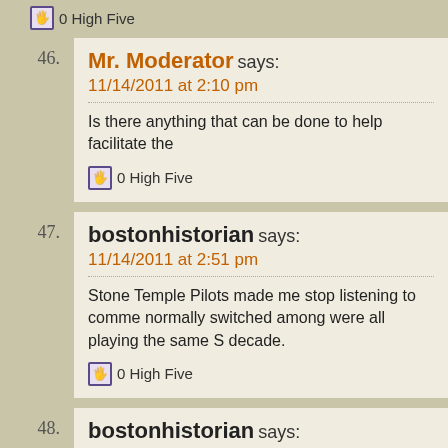0 High Five
46. Mr. Moderator says: 11/14/2011 at 2:10 pm
Is there anything that can be done to help facilitate the
0 High Five
47. bostonhistorian says: 11/14/2011 at 2:51 pm
Stone Temple Pilots made me stop listening to comme normally switched among were all playing the same S decade.
0 High Five
48. bostonhistorian says: